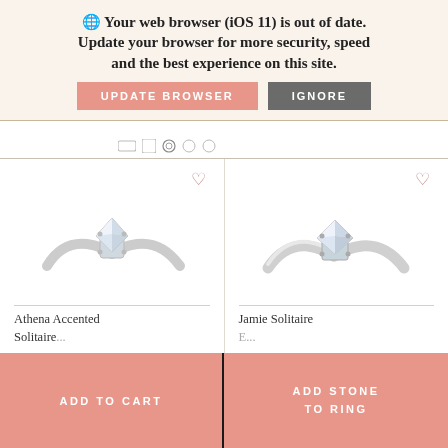[Figure (screenshot): Browser update warning banner with globe icon, text about iOS 11 browser being out of date, UPDATE BROWSER and IGNORE buttons]
[Figure (photo): Athena Accented Solitaire diamond engagement ring in white gold with round brilliant cut diamond, shown on white background with heart wishlist icon]
Athena Accented Solitaire
[Figure (photo): Jamie Solitaire diamond engagement ring in white gold with round brilliant cut diamond, shown on white background with heart wishlist icon]
Jamie Solitaire
ADD TO CART
ADD STONE TO RING